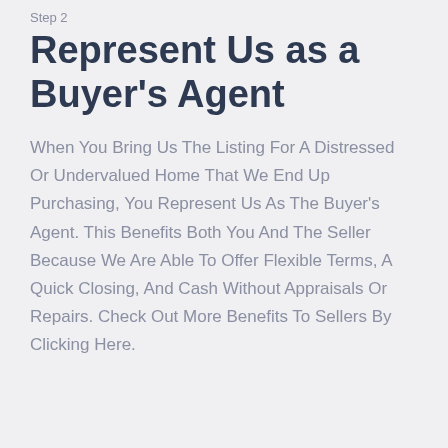Step 2
Represent Us as a Buyer's Agent
When You Bring Us The Listing For A Distressed Or Undervalued Home That We End Up Purchasing, You Represent Us As The Buyer's Agent. This Benefits Both You And The Seller Because We Are Able To Offer Flexible Terms, A Quick Closing, And Cash Without Appraisals Or Repairs. Check Out More Benefits To Sellers By Clicking Here.